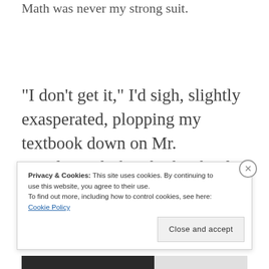Math was never my strong suit.
“I don’t get it,” I’d sigh, slightly exasperated, plopping my textbook down on Mr. McClew’s desk in high school.
Privacy & Cookies: This site uses cookies. By continuing to use this website, you agree to their use.
To find out more, including how to control cookies, see here: Cookie Policy
Close and accept